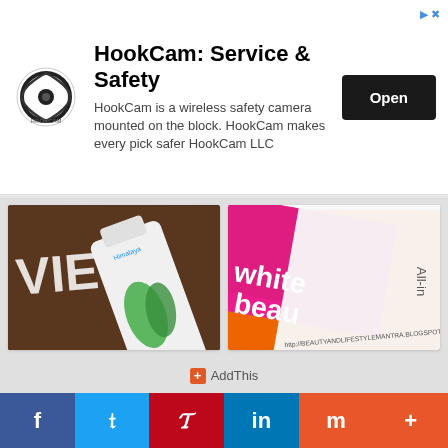[Figure (infographic): HookCam advertisement banner with logo, title, description and Open button]
[Figure (photo): Himalaya Herbals Gentle Daily Care Protein Shampoo product photo]
Review // Himalaya Herbals Gentle Daily Care Protein Shampoo
www.beautyandlifestylema...
[Figure (photo): Pond's White Beauty BB+ Fairness Cream product photo]
Pond's White Beauty BB+ Fairness Cream Review
www.beautyandlifestylema...
AddThis
f  t  P  in  m  +